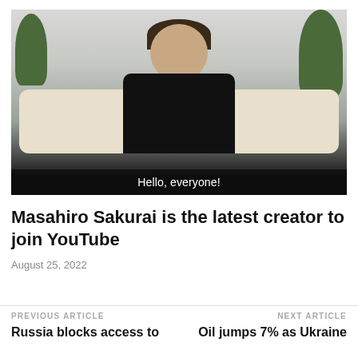[Figure (photo): Man in black jacket sitting in front of a white couch with plants in background, with subtitle text 'Hello, everyone!']
Masahiro Sakurai is the latest creator to join YouTube
August 25, 2022
PREVIOUS ARTICLE
Russia blocks access to
NEXT ARTICLE
Oil jumps 7% as Ukraine